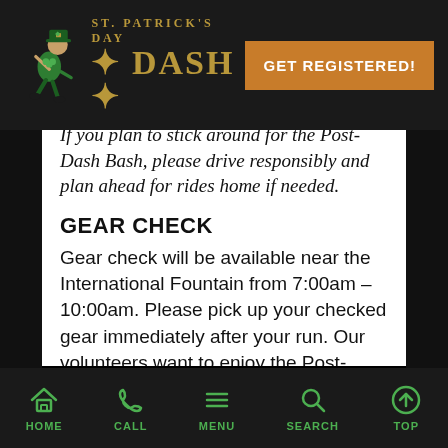St. Patrick's Day Dash — GET REGISTERED!
If you plan to stick around for the Post-Dash Bash, please drive responsibly and plan ahead for rides home if needed.
GEAR CHECK
Gear check will be available near the International Fountain from 7:00am – 10:00am. Please pick up your checked gear immediately after your run. Our volunteers want to enjoy the Post-Dash Bash as well!
HOME  CALL  MENU  SEARCH  TOP